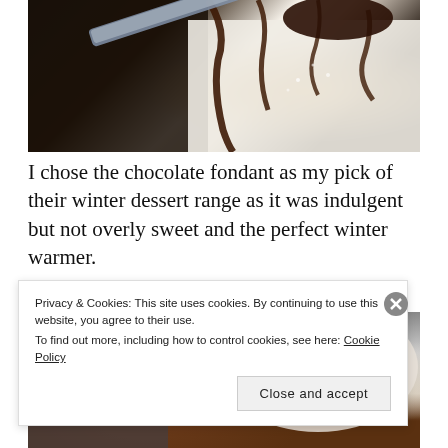[Figure (photo): Close-up photo of chocolate sauce/fondant being poured onto a white surface, with dark chocolate drips and streaks visible against a light background.]
I chose the chocolate fondant as my pick of their winter dessert range as it was indulgent but not overly sweet and the perfect winter warmer.
[Figure (photo): Photo of a chocolate fondant dessert on a white plate with chocolate sauce, partially obscured by a cookie consent banner.]
Privacy & Cookies: This site uses cookies. By continuing to use this website, you agree to their use.
To find out more, including how to control cookies, see here: Cookie Policy
Close and accept